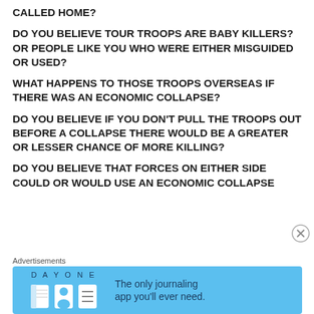CALLED HOME?
DO YOU BELIEVE TOUR TROOPS ARE BABY KILLERS? OR PEOPLE LIKE YOU WHO WERE EITHER MISGUIDED OR USED?
WHAT HAPPENS TO THOSE TROOPS OVERSEAS IF THERE WAS AN ECONOMIC COLLAPSE?
DO YOU BELIEVE IF YOU DON'T PULL THE TROOPS OUT BEFORE A COLLAPSE THERE WOULD BE A GREATER OR LESSER CHANCE OF MORE KILLING?
DO YOU BELIEVE THAT FORCES ON EITHER SIDE COULD OR WOULD USE AN ECONOMIC COLLAPSE
Advertisements
[Figure (screenshot): DAY ONE app advertisement banner with blue background showing app icons and text 'The only journaling app you'll ever need.']